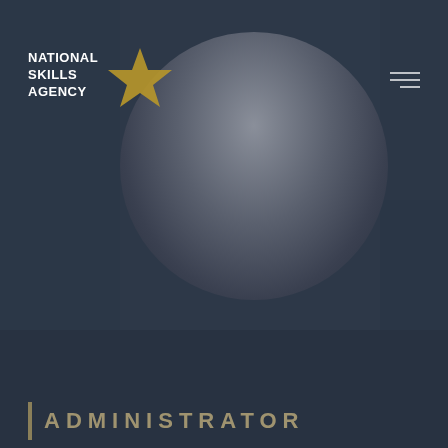[Figure (photo): Dark-toned webpage screenshot showing a National Skills Agency banner page. A circular portrait of a woman with long hair is centered in the upper portion against a dark navy/slate background. The lower section shows a dark footer bar with the partial text 'ADMINISTRATOR' in gold/amber letters.]
NATIONAL SKILLS AGENCY
ADMINISTRATOR